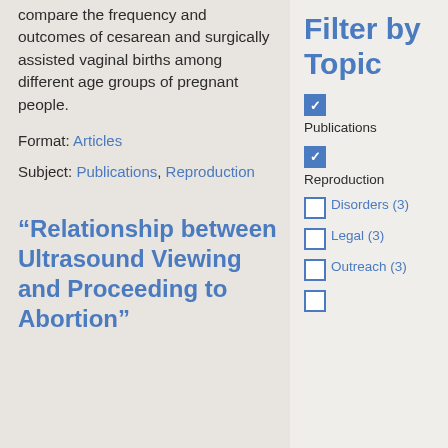compare the frequency and outcomes of cesarean and surgically assisted vaginal births among different age groups of pregnant people.
Format: Articles
Subject: Publications, Reproduction
“Relationship between Ultrasound Viewing and Proceeding to Abortion”
Filter by Topic
Publications (checked)
Reproduction (checked)
Disorders (3) (unchecked)
Legal (3) (unchecked)
Outreach (3) (unchecked)